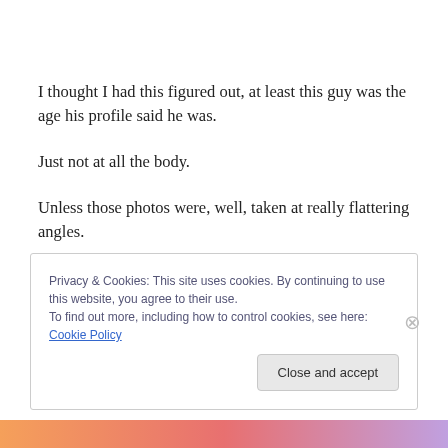I thought I had this figured out, at least this guy was the age his profile said he was.
Just not at all the body.
Unless those photos were, well, taken at really flattering angles.
We even Face Timed.
Privacy & Cookies: This site uses cookies. By continuing to use this website, you agree to their use.
To find out more, including how to control cookies, see here: Cookie Policy
Close and accept